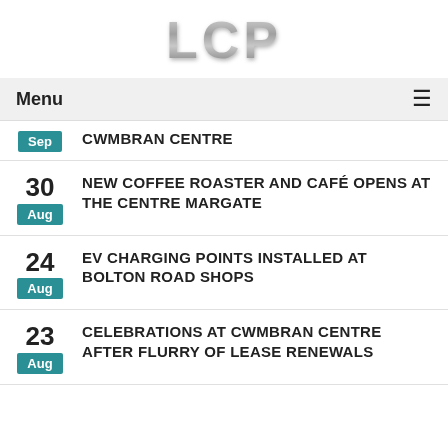[Figure (logo): LCP logo text in silver/grey gradient metallic style]
Menu ≡
CWMBRAN CENTRE — Sep
30 Aug — NEW COFFEE ROASTER AND CAFé OPENS AT THE CENTRE MARGATE
24 Aug — EV CHARGING POINTS INSTALLED AT BOLTON ROAD SHOPS
23 Aug — CELEBRATIONS AT CWMBRAN CENTRE AFTER FLURRY OF LEASE RENEWALS